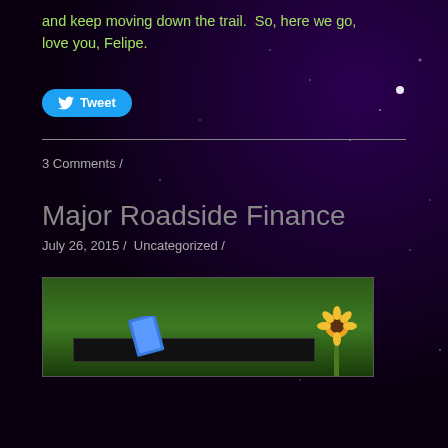and keep moving down the trail.  So, here we go, love you, Felipe.
[Figure (screenshot): Twitter Tweet button, blue rounded rectangle with bird icon and 'Tweet' text]
3 Comments /
Major Roadside Finance
July 26, 2015 /  Uncategorized /
[Figure (photo): Outdoor roadside sign photo with green foliage background, blue books, and sunflower decoration]